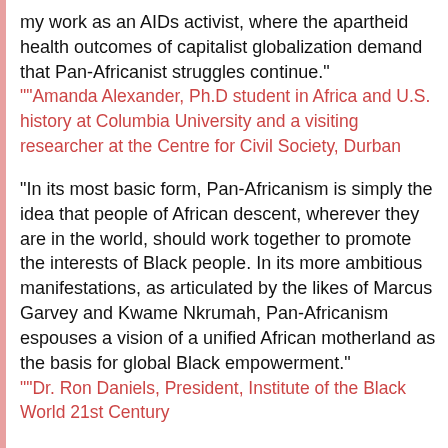my work as an AIDs activist, where the apartheid health outcomes of capitalist globalization demand that Pan-Africanist struggles continue."
""Amanda Alexander, Ph.D student in Africa and U.S. history at Columbia University and a visiting researcher at the Centre for Civil Society, Durban
"In its most basic form, Pan-Africanism is simply the idea that people of African descent, wherever they are in the world, should work together to promote the interests of Black people. In its more ambitious manifestations, as articulated by the likes of Marcus Garvey and Kwame Nkrumah, Pan-Africanism espouses a vision of a unified African motherland as the basis for global Black empowerment."
""Dr. Ron Daniels, President, Institute of the Black World 21st Century